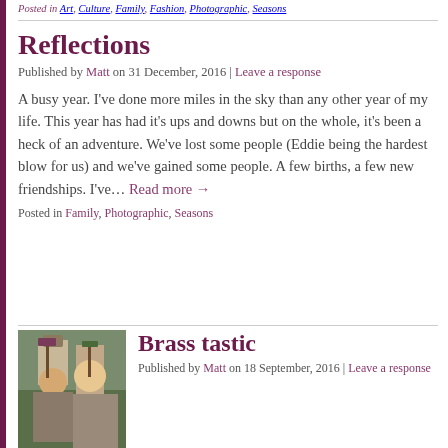Posted in: Art, Culture, Family, Fashion, Photographic, Seasons
Reflections
Published by Matt on 31 December, 2016 | Leave a response
A busy year. I've done more miles in the sky than any other year of my life. This year has had it's ups and downs but on the whole, it's been a heck of an adventure. We've lost some people (Eddie being the hardest blow for us) and we've gained some people. A few births, a few new friendships. I've… Read more →
Posted in Family, Photographic, Seasons
Brass tastic
Published by Matt on 18 September, 2016 | Leave a response
[Figure (photo): A photo of two people outdoors at what appears to be an event or festival, with banners/flags visible in the background]